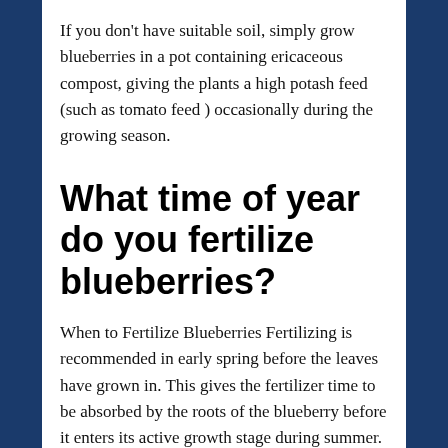If you don't have suitable soil, simply grow blueberries in a pot containing ericaceous compost, giving the plants a high potash feed (such as tomato feed ) occasionally during the growing season.
What time of year do you fertilize blueberries?
When to Fertilize Blueberries Fertilizing is recommended in early spring before the leaves have grown in. This gives the fertilizer time to be absorbed by the roots of the blueberry before it enters its active growth stage during summer. Feed new plants once in early spring and again in late spring.
How do you fertilize